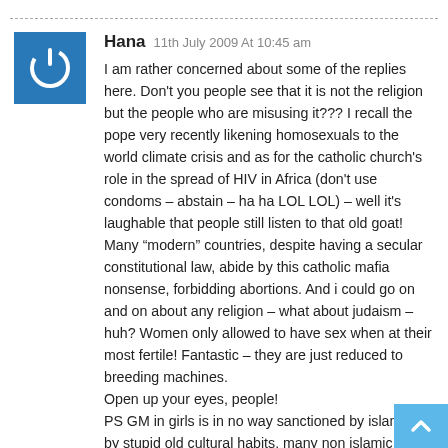[Figure (illustration): Blue square avatar with white power button / circle-arrow icon]
Hana 11th July 2009 At 10:45 am
I am rather concerned about some of the replies here. Don't you people see that it is not the religion but the people who are misusing it??? I recall the pope very recently likening homosexuals to the world climate crisis and as for the catholic church's role in the spread of HIV in Africa (don't use condoms – abstain – ha ha LOL LOL) – well it's laughable that people still listen to that old goat! Many "modern" countries, despite having a secular constitutional law, abide by this catholic mafia nonsense, forbidding abortions. And i could go on and on about any religion – what about judaism – huh? Women only allowed to have sex when at their most fertile! Fantastic – they are just reduced to breeding machines.
Open up your eyes, people!
PS GM in girls is in no way sanctioned by islam but by stupid old cultural habits. many non islamic communities across Africa are practicing this barbaric act, many of them christian too!